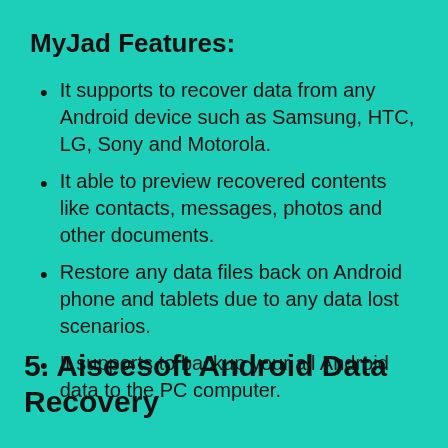MyJad Features:
It supports to recover data from any Android device such as Samsung, HTC, LG, Sony and Motorola.
It able to preview recovered contents like contacts, messages, photos and other documents.
Restore any data files back on Android phone and tablets due to any data lost scenarios.
It supports to backup your all Android data to the PC computer.
5. Aiseesoft Android Data Recovery